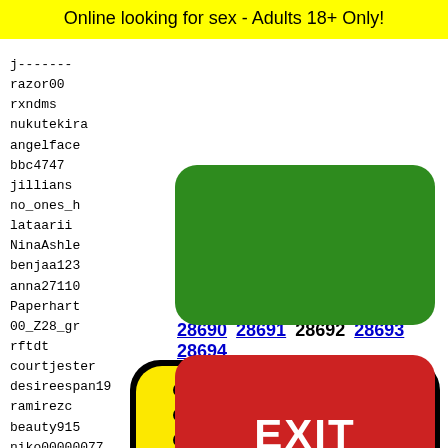Online looking for sex - Adults 18+ Only!
j-------
razor00
rxndms
nukutekira
angelface
bbc4747
jillians
no_ones_h
lataarii
NinaAshle
benjaa123
anna27110
Paperhart
00_Z28_gr
rftdt
courtjester
desireespan19
ramirezc
beauty915
niko00000077
robrob
ochait
fort-w
beag17
rebis6
nitipo
[Figure (other): Green button (advertisement)]
[Figure (other): Red EXIT button (advertisement)]
28690 28691 28692 28693 28694
[Figure (other): Snapchat ghost logo on yellow background with black rounded border]